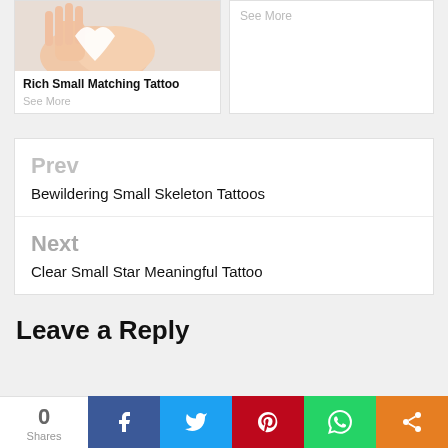[Figure (photo): Hands holding a small heart shape, partial view at top of page]
Rich Small Matching Tattoo
See More
See More
Prev
Bewildering Small Skeleton Tattoos
Next
Clear Small Star Meaningful Tattoo
Leave a Reply
0
Shares